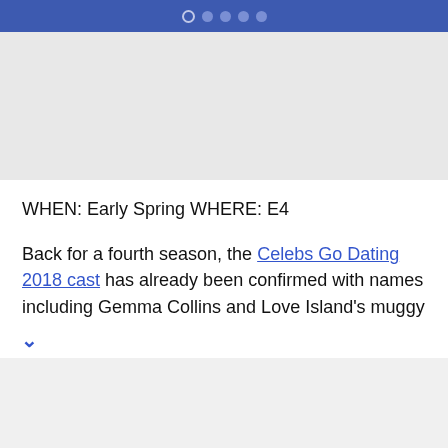● ● ● ● ●
[Figure (other): Gray placeholder image area]
WHEN: Early Spring WHERE: E4
Back for a fourth season, the Celebs Go Dating 2018 cast has already been confirmed with names including Gemma Collins and Love Island's muggy [rest cut off]